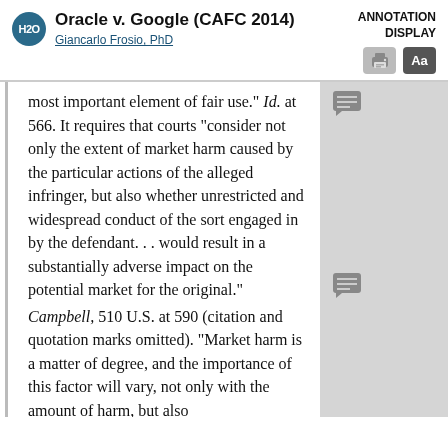Oracle v. Google (CAFC 2014) — Giancarlo Frosio, PhD — ANNOTATION DISPLAY
most important element of fair use." Id. at 566. It requires that courts "consider not only the extent of market harm caused by the particular actions of the alleged infringer, but also whether unrestricted and widespread conduct of the sort engaged in by the defendant. . . would result in a substantially adverse impact on the potential market for the original." Campbell, 510 U.S. at 590 (citation and quotation marks omitted). "Market harm is a matter of degree, and the importance of this factor will vary, not only with the amount of harm, but also